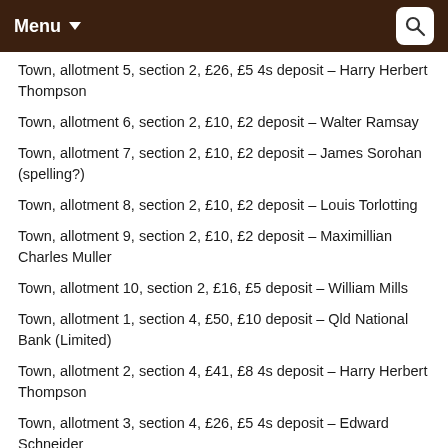Menu
Town, allotment 5, section 2, £26, £5 4s deposit – Harry Herbert Thompson
Town, allotment 6, section 2, £10, £2 deposit – Walter Ramsay
Town, allotment 7, section 2, £10, £2 deposit – James Sorohan (spelling?)
Town, allotment 8, section 2, £10, £2 deposit – Louis Torlotting
Town, allotment 9, section 2, £10, £2 deposit – Maximillian Charles Muller
Town, allotment 10, section 2, £16, £5 deposit – William Mills
Town, allotment 1, section 4, £50, £10 deposit – Qld National Bank (Limited)
Town, allotment 2, section 4, £41, £8 4s deposit – Harry Herbert Thompson
Town, allotment 3, section 4, £26, £5 4s deposit – Edward Schneider
Town, allotment 4, section 4, £16, £4 deposit – Gustav [Steinhardt?]